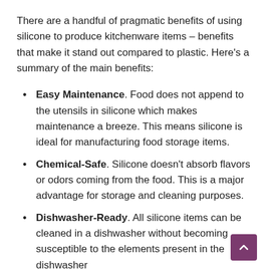There are a handful of pragmatic benefits of using silicone to produce kitchenware items – benefits that make it stand out compared to plastic. Here's a summary of the main benefits:
Easy Maintenance. Food does not append to the utensils in silicone which makes maintenance a breeze. This means silicone is ideal for manufacturing food storage items.
Chemical-Safe. Silicone doesn't absorb flavors or odors coming from the food. This is a major advantage for storage and cleaning purposes.
Dishwasher-Ready. All silicone items can be cleaned in a dishwasher without becoming susceptible to the elements present in the dishwasher
Temperature-Resistant. Silicone items can withstand high heat (making them ideal for cooking) and low temperatures (making them ideal for storage).